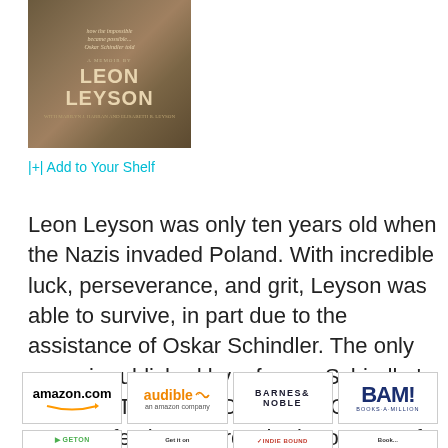[Figure (illustration): Book cover for 'The Boy on the Wooden Box' by Leon Leyson, showing a textured brownish cover with author name]
|+| Add to Your Shelf
Leon Leyson was only ten years old when the Nazis invaded Poland. With incredible luck, perseverance, and grit, Leyson was able to survive, in part due to the assistance of Oskar Schindler. The only memoir published by a former Schindler's list child, THE BOY ON THE WOODEN BOX perfectly captures the innocence of a small boy who goes through the unthinkable.
[Figure (logo): amazon.com logo with orange arrow]
[Figure (logo): audible an amazon company logo]
[Figure (logo): BARNES & NOBLE logo]
[Figure (logo): BAM! Books-A-Million logo]
[Figure (logo): Bottom row retailer logos: partial logos visible]
[Figure (logo): Get it on logo]
[Figure (logo): IndieBound logo]
[Figure (logo): Fourth bottom retailer logo]